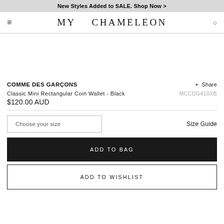New Styles Added to SALE. Shop Now >
MY CHAMELEON
COMME DES GARÇONS
+ Share
Classic Mini Rectangular Coin Wallet - Black
MCCDG410XB
$120.00 AUD
Choose your size
Size Guide
ADD TO BAG
ADD TO WISHLIST